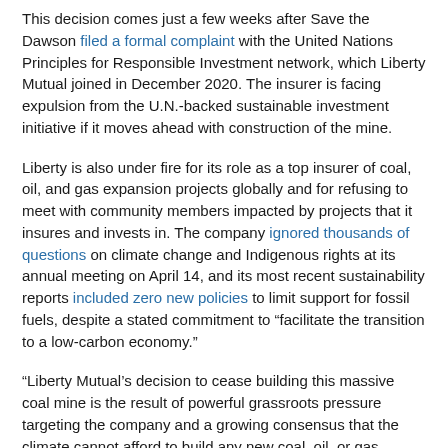This decision comes just a few weeks after Save the Dawson filed a formal complaint with the United Nations Principles for Responsible Investment network, which Liberty Mutual joined in December 2020. The insurer is facing expulsion from the U.N.-backed sustainable investment initiative if it moves ahead with construction of the mine.
Liberty is also under fire for its role as a top insurer of coal, oil, and gas expansion projects globally and for refusing to meet with community members impacted by projects that it insures and invests in. The company ignored thousands of questions on climate change and Indigenous rights at its annual meeting on April 14, and its most recent sustainability reports included zero new policies to limit support for fossil fuels, despite a stated commitment to “facilitate the transition to a low-carbon economy.”
“Liberty Mutual’s decision to cease building this massive coal mine is the result of powerful grassroots pressure targeting the company and a growing consensus that the climate cannot afford to build any new coal, oil, or gas infrastructure,” said Elana Sulakshana, Energy Finance Campaigner at Rainforest Action Network. “The fact that it took a herculean 10-year campaign by local community groups and the threat of expulsion from a sustainable investment network for Liberty to halt plans to build this climate-wrecking project makes clear how